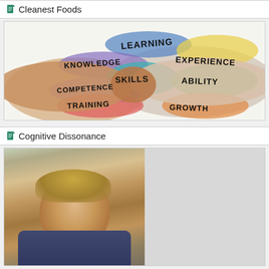Cleanest Foods
[Figure (illustration): Two hands shaking with colorful chalk-style word labels overlaid: LEARNING (blue), EXPERIENCE (yellow), KNOWLEDGE (purple), SKILLS (teal), ABILITY (green), COMPETENCE (purple), TRAINING (red/orange), GROWTH (orange)]
Cognitive Dissonance
[Figure (photo): A young boy in school uniform looking directly at camera with a serious expression, other students blurred in background; right half of image is a light gray/blank area]